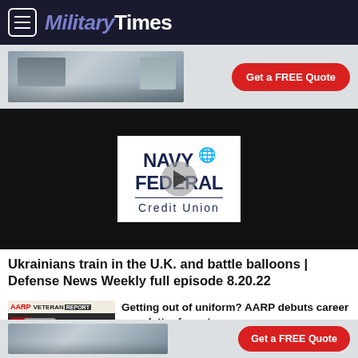Military Times
[Figure (screenshot): Kitchen advertisement banner with 'Get a FREE Quote' red button]
[Figure (screenshot): Navy Federal Credit Union video player thumbnail with play button overlay]
Ukrainians train in the U.K. and battle balloons | Defense News Weekly full episode 8.20.22
[Figure (screenshot): AARP Veteran Report related article thumbnail showing a man speaking]
Getting out of uniform? AARP debuts career newsletter for vets
[Figure (screenshot): Kitchen advertisement banner with 'Get a FREE Quote' red button (bottom)]